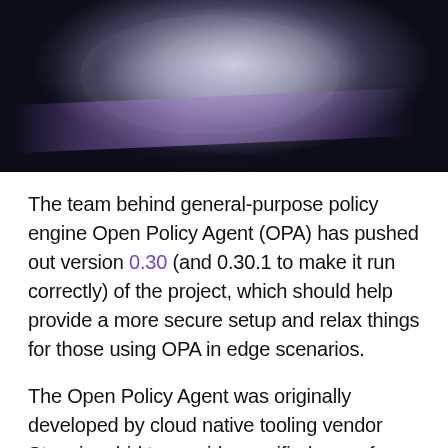[Figure (photo): Abstract close-up photograph of a circular reflective object with water droplets or ice, set against a dark background with purple/blue tones and a misty atmosphere]
The team behind general-purpose policy engine Open Policy Agent (OPA) has pushed out version 0.30 (and 0.30.1 to make it run correctly) of the project, which should help provide a more secure setup and relax things for those using OPA in edge scenarios.
The Open Policy Agent was originally developed by cloud native tooling vendor Styra in a bid to provide a unified way of enforcing policies in microservices, pipelines, Kubernetes and more. In February 2021, the project...